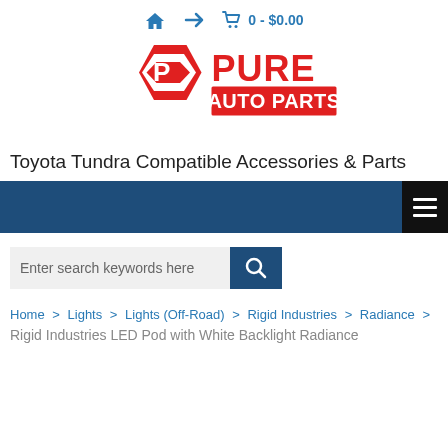🏠 → 🛒 0 - $0.00
[Figure (logo): Pure Auto Parts logo — red hexagon icon with a P shape and red bold text reading 'PURE AUTO PARTS']
Toyota Tundra Compatible Accessories & Parts
[Figure (screenshot): Dark blue navigation bar with hamburger menu button on the right]
[Figure (screenshot): Search bar with placeholder text 'Enter search keywords here' and a dark blue search button with magnifying glass icon]
Home > Lights > Lights (Off-Road) > Rigid Industries > Radiance
Rigid Industries LED Pod with White Backlight Radiance